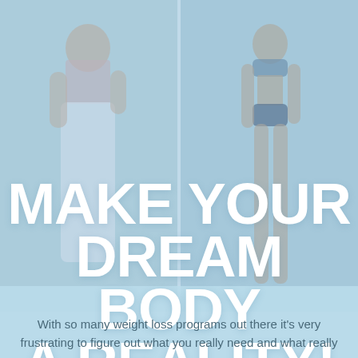[Figure (photo): Two side-by-side photos of women with a light blue overlay. Left photo shows a woman in white pants and floral top. Right photo shows a woman in a bikini. The images serve as a before/after or aspirational body image comparison.]
MAKE YOUR DREAM BODY A REALITY!
With so many weight loss programs out there it's very frustrating to figure out what you really need and what really